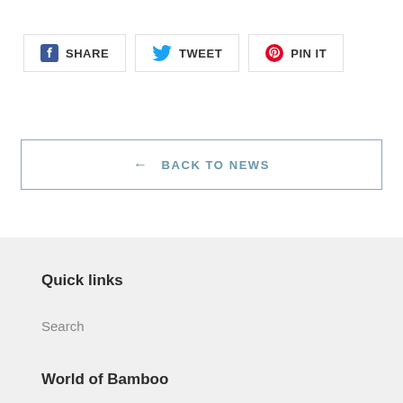SHARE
TWEET
PIN IT
← BACK TO NEWS
Quick links
Search
World of Bamboo